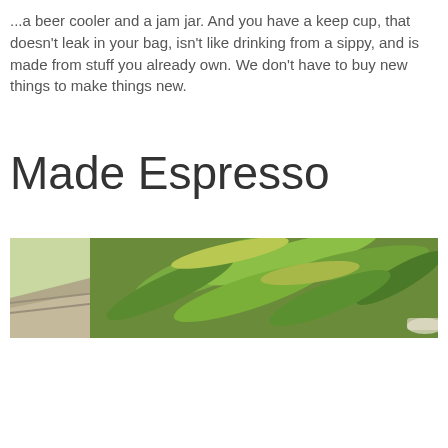...a beer cooler and a jam jar. And you have a keep cup, that doesn't leak in your bag, isn't like drinking from a sippy, and is made from stuff you already own. We don't have to buy new things to make things new.
Made Espresso
[Figure (photo): A photo showing green plants and foliage outdoors, with what appears to be a coffee cup or small vessel visible at the bottom, taken in bright daylight.]